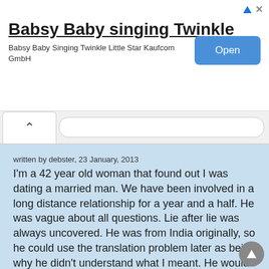[Figure (screenshot): Advertisement banner for 'Babsy Baby singing Twinkle' app with an Open button]
Babsy Baby singing Twinkle
Babsy Baby Singing Twinkle Little Star Kaufcom GmbH
[Figure (screenshot): Browser navigation bar with back chevron and URL bar]
written by debster, 23 January, 2013
I'm a 42 year old woman that found out I was dating a married man. We have been involved in a long distance relationship for a year and a half. He was vague about all questions. Lie after lie was always uncovered. He was from India originally, so he could use the translation problem later as being why he didn't understand what I meant. He would get upset at all my questions, then say I'm always starting a fight. I broke up with him a couple months into it because I told him it wasn't right that he disappears on the weekend and I didn't know